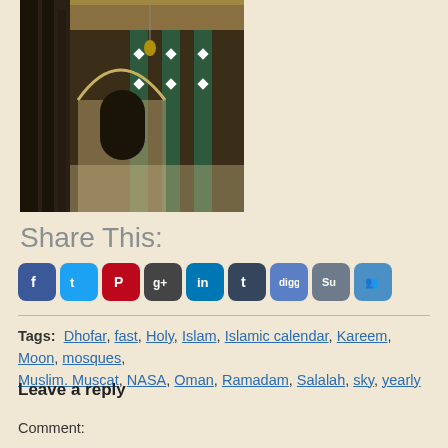[Figure (photo): Interior of a mosque showing ornate arches, green columns with white diamond patterns, decorative ceiling, and reflective marble floor]
Share This:
[Figure (infographic): Social media sharing icons: Facebook, Twitter, Pinterest, Google+, LinkedIn, Tumblr, Digg, StumbleUpon, Delicious]
Tags:  Dhofar, fast, Holy, Islam, Islamic calendar, Kareem, Moon, mosques, Muslim. Muscat, NASA, Oman, Ramadam, Salalah, sky, yearly
Leave a reply
Comment: